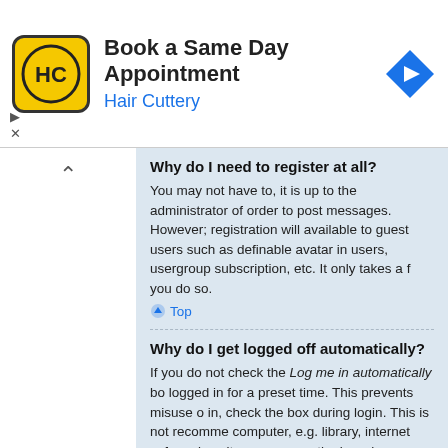[Figure (screenshot): Hair Cuttery ad banner with logo, 'Book a Same Day Appointment' title, 'Hair Cuttery' subtitle in blue, and a blue direction sign arrow icon]
Why do I need to register at all?
You may not have to, it is up to the administrator of order to post messages. However; registration will available to guest users such as definable avatar in users, usergroup subscription, etc. It only takes a f you do so.
Top
Why do I get logged off automatically?
If you do not check the Log me in automatically bo logged in for a preset time. This prevents misuse o in, check the box during login. This is not recomme computer, e.g. library, internet cafe, university com means the board administrator has disabled this fe
Top
How do I prevent my username appearing in th
Within your User Control Panel, under "Board prefe